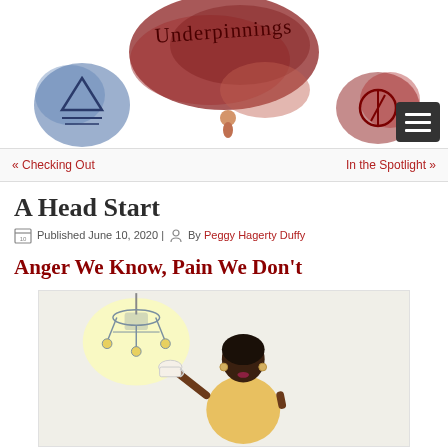[Figure (illustration): Website header for 'Underpinnings' blog featuring handwritten-style title text over a large red/maroon watercolor blob in the center, a blue watercolor shape with a triangle symbol on the left, a red watercolor shape with a circular symbol on the right, and a small illustrated figure of a person in the lower center.]
« Checking Out    In the Spotlight »
A Head Start
Published June 10, 2020 | By Peggy Hagerty Duffy
Anger We Know, Pain We Don't
[Figure (illustration): Illustration of a Black woman in a yellow dress holding up a white teacup, with a decorative hanging lamp/chandelier in the upper left corner of the image. The background is light gray/white.]